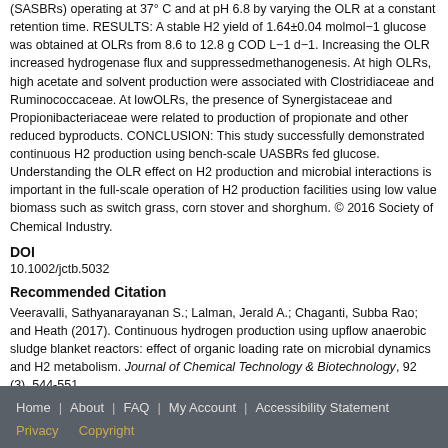(SASBRs) operating at 37°C and at pH 6.8 by varying the OLR at a constant retention time. RESULTS: A stable H2 yield of 1.64±0.04 molmol−1 glucose was obtained at OLRs from 8.6 to 12.8 g COD L−1 d−1. Increasing the OLR increased hydrogenase flux and suppressedmethanogenesis. At high OLRs, high acetate and solvent production were associated with Clostridiaceae and Ruminococcaceae. At lowOLRs, the presence of Synergistaceae and Propionibacteriaceae were related to production of propionate and other reduced byproducts. CONCLUSION: This study successfully demonstrated continuous H2 production using bench-scale UASBRs fed glucose. Understanding the OLR effect on H2 production and microbial interactions is important in the full-scale operation of H2 production facilities using low value biomass such as switch grass, corn stover and shorghum. © 2016 Society of Chemical Industry.
DOI
10.1002/jctb.5032
Recommended Citation
Veeravalli, Sathyanarayanan S.; Lalman, Jerald A.; Chaganti, Subba Rao; and Heath (2017). Continuous hydrogen production using upflow anaerobic sludge blanket reactors: effect of organic loading rate on microbial dynamics and H2 metabolism. Journal of Chemical Technology & Biotechnology, 92 (3), 544-551. https://scholar.uwindsor.ca/glierpub/188
Home | About | FAQ | My Account | Accessibility Statement Privacy Copyright